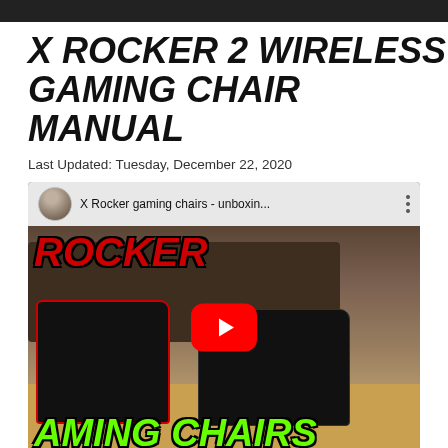X ROCKER 2 WIRELESS GAMING CHAIR MANUAL
Last Updated: Tuesday, December 22, 2020
[Figure (screenshot): YouTube video thumbnail showing two children sitting in X Rocker gaming chairs on a wooden floor in front of a dark sofa. The video title reads 'X Rocker gaming chairs - unboxin...' with a red YouTube play button in the center. Green text overlay reads 'ROCKER' at top left and 'GAMING CHAIRS' at bottom left.]